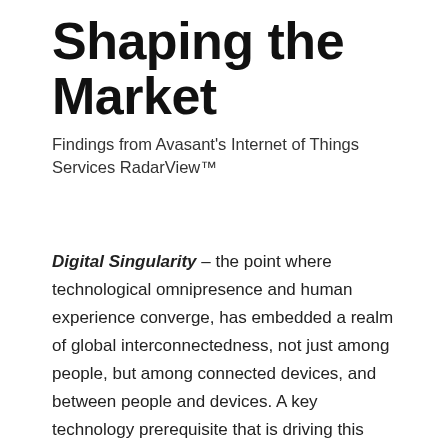Shaping the Market
Findings from Avasant's Internet of Things Services RadarView™
Digital Singularity – the point where technological omnipresence and human experience converge, has embedded a realm of global interconnectedness, not just among people, but among connected devices, and between people and devices. A key technology prerequisite that is driving this wave of connectivity and fuelling Industry 4.0 is the Internet of Things (IoT).